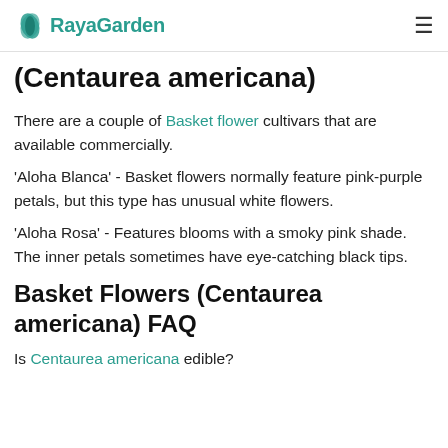RayaGarden | Varieties of Basket Flowers (Centaurea americana)
Varieties of Basket Flowers (Centaurea americana)
There are a couple of Basket flower cultivars that are available commercially.
'Aloha Blanca' - Basket flowers normally feature pink-purple petals, but this type has unusual white flowers.
'Aloha Rosa' - Features blooms with a smoky pink shade. The inner petals sometimes have eye-catching black tips.
Basket Flowers (Centaurea americana) FAQ
Is Centaurea americana edible?